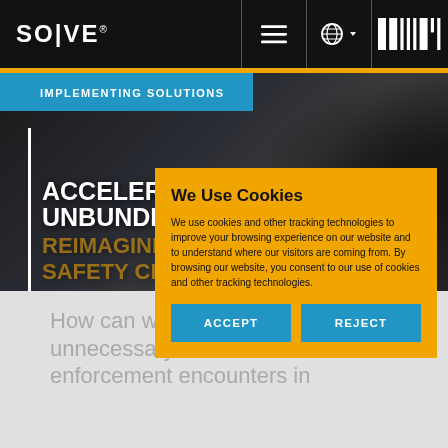SOLVE® MIT
[Figure (screenshot): Hero image of a police officer in dark/greyscale background with blue 'IMPLEMENTING SOLUTIONS' badge and white bold text reading 'ACCELERATOR | UNBUNDLE POLICING: REIMAGINE PUBLIC SAFETY CHALLENGE']
IMPLEMENTING SOLUTIONS
ACCELERATOR | UNBUNDLE POLICING: REIMAGINE PUBLIC SAFETY CHALLENGE
We Use Cookies
We use cookies and other tracking technologies to improve your browsing experience on our website and to understand where our visitors are coming from. By browsing our website, you consent to our use of cookies and other tracking technologies.
ACCEPT
REJECT
How can we de... unnecessary and adverse law enforcement encounters in